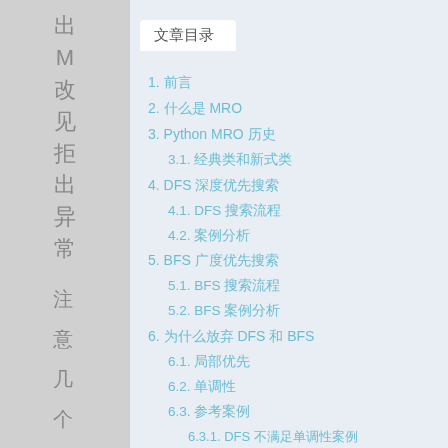文章目录
1. 前言
2. 什么是 MRO
3. Python MRO 历史
3.1. 经典类和新式类
4. DFS 深度优先搜索
4.1. DFS 搜索流程
4.2. 案例分析
5. BFS 广度优先搜索
5.1. BFS 搜索流程
5.2. BFS 案例分析
6. 为什么放弃 DFS 和 BFS
6.1. 局部优先
6.2. 单调性
6.3. 参考案例
6.3.1. DFS 不满足单调性案例